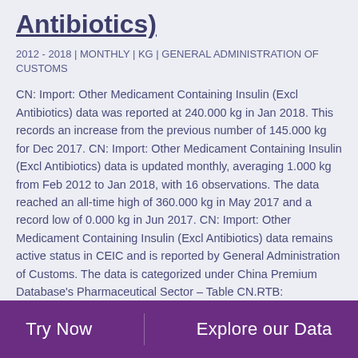Antibiotics)
2012 - 2018 | MONTHLY | KG | GENERAL ADMINISTRATION OF CUSTOMS
CN: Import: Other Medicament Containing Insulin (Excl Antibiotics) data was reported at 240.000 kg in Jan 2018. This records an increase from the previous number of 145.000 kg for Dec 2017. CN: Import: Other Medicament Containing Insulin (Excl Antibiotics) data is updated monthly, averaging 1.000 kg from Feb 2012 to Jan 2018, with 16 observations. The data reached an all-time high of 360.000 kg in May 2017 and a record low of 0.000 kg in Jun 2017. CN: Import: Other Medicament Containing Insulin (Excl Antibiotics) data remains active status in CEIC and is reported by General Administration of Customs. The data is categorized under China Premium Database's Pharmaceutical Sector – Table CN.RTB: Pharmaceutical Trade: Hormones and their Medicaments:
Try Now    Explore our Data